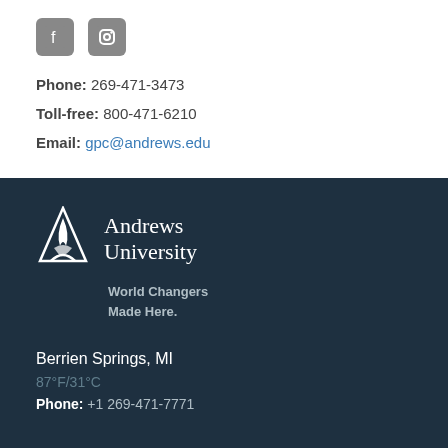[Figure (logo): Facebook and Instagram social media icons (grey rounded square icons)]
Phone: 269-471-3473
Toll-free: 800-471-6210
Email: gpc@andrews.edu
[Figure (logo): Andrews University flame logo in white on dark navy background, with text 'Andrews University']
World Changers Made Here.
Berrien Springs, MI
87°F/31°C
Phone: +1 269-471-7771